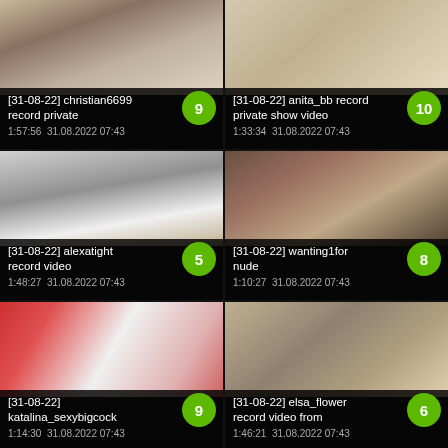[Figure (screenshot): Video thumbnail grid cell 1 - male figure]
[31-08-22] christian6699 record private
1:57:56  31.08.2022 07:43
[Figure (screenshot): Video thumbnail grid cell 2 - female figure blonde]
[31-08-22] anita_bb record private show video
1:33:34  31.08.2022 07:43
[Figure (screenshot): Video thumbnail grid cell 3 - room interior]
[31-08-22] alexatight record video
1:48:27  31.08.2022 07:43
[Figure (screenshot): Video thumbnail grid cell 4 - figure close up]
[31-08-22] wanting1for nude
1:10:27  31.08.2022 07:43
[Figure (screenshot): Video thumbnail grid cell 5 - female with pink lipstick white shirt]
[31-08-22] katalina_sexybigcock
1:14:30  31.08.2022 07:43
[Figure (screenshot): Video thumbnail grid cell 6 - female dark hair]
[31-08-22] elsa_flower record video from
1:46:21  31.08.2022 07:43